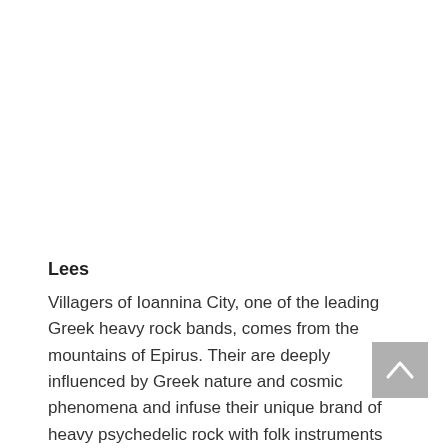Lees
Villagers of Ioannina City, one of the leading Greek heavy rock bands, comes from the mountains of Epirus. Their are deeply influenced by Greek nature and cosmic phenomena and infuse their unique brand of heavy psychedelic rock with folk instruments such as bagpipes,